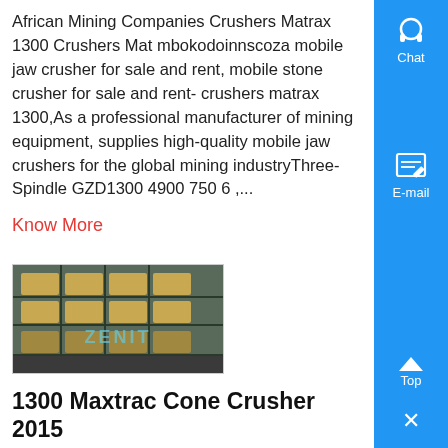African Mining Companies Crushers Matrax 1300 Crushers Matmbokodoinnscoza mobile jaw crusher for sale and rent, mobile stone crusher for sale and rent- crushers matrax 1300,As a professional manufacturer of mining equipment, supplies high-quality mobile jaw crushers for the global mining industryThree-Spindle GZD1300 4900 750 6 ,...
Know More
[Figure (photo): Photo of a 1300 Maxtrac Cone Crusher industrial equipment with wiring and components visible, branded ZENIT]
1300 Maxtrac Cone Crusher 2015
1300 Maxtrac Cone Crusher 2015 Year 2005 Make Model 1300 Maxtrac Cone Crusher Hours 493 Price POA Location Perth Sta Ready for Immediate Sale Details C13 Diesel Engine ,...